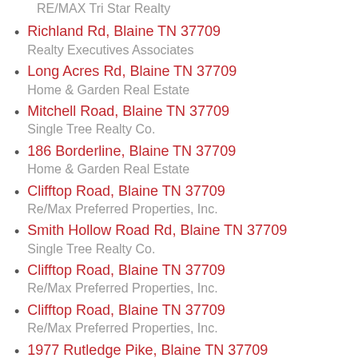RE/MAX Tri Star Realty
Richland Rd, Blaine TN 37709
Realty Executives Associates
Long Acres Rd, Blaine TN 37709
Home & Garden Real Estate
Mitchell Road, Blaine TN 37709
Single Tree Realty Co.
186 Borderline, Blaine TN 37709
Home & Garden Real Estate
Clifftop Road, Blaine TN 37709
Re/Max Preferred Properties, Inc.
Smith Hollow Road Rd, Blaine TN 37709
Single Tree Realty Co.
Clifftop Road, Blaine TN 37709
Re/Max Preferred Properties, Inc.
Clifftop Road, Blaine TN 37709
Re/Max Preferred Properties, Inc.
1977 Rutledge Pike, Blaine TN 37709